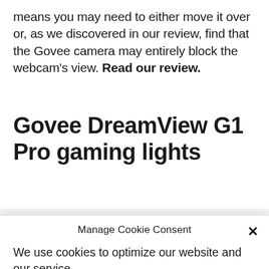means you may need to either move it over or, as we discovered in our review, find that the Govee camera may entirely block the webcam's view. Read our review.
Govee DreamView G1 Pro gaming lights
Manage Cookie Consent
We use cookies to optimize our website and our service.
Accept
Cookie Policy